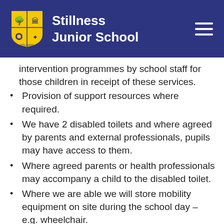Stillness Junior School
intervention programmes by school staff for those children in receipt of these services.
Provision of support resources where required.
We have 2 disabled toilets and where agreed by parents and external professionals, pupils may have access to them.
Where agreed parents or health professionals may accompany a child to the disabled toilet.
Where we are able we will store mobility equipment on site during the school day – e.g. wheelchair.
Handwriting groups
Sensory Circuit